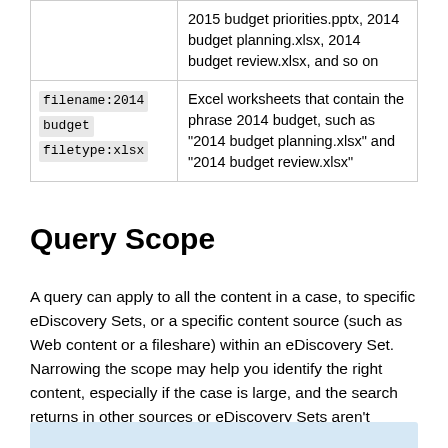| Query | Description |
| --- | --- |
|  | 2015 budget priorities.pptx, 2014 budget planning.xlsx, 2014 budget review.xlsx, and so on |
| filename:2014 budget filetype:xlsx | Excel worksheets that contain the phrase 2014 budget, such as "2014 budget planning.xlsx" and "2014 budget review.xlsx" |
Query Scope
A query can apply to all the content in a case, to specific eDiscovery Sets, or a specific content source (such as Web content or a fileshare) within an eDiscovery Set. Narrowing the scope may help you identify the right content, especially if the case is large, and the search returns in other sources or eDiscovery Sets aren't relevant.